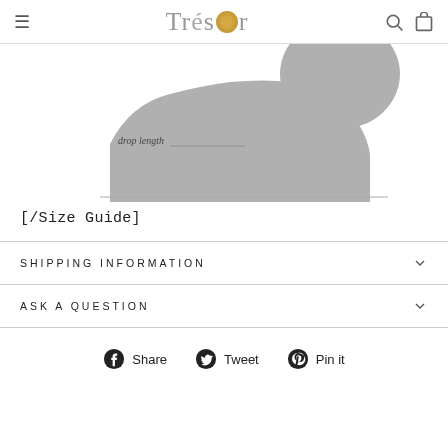Trésor
[Figure (illustration): Silhouette of a neck/shoulder with 'drop length' label annotation, showing earring drop length guide]
[/Size Guide]
SHIPPING INFORMATION
ASK A QUESTION
Share  Tweet  Pin it